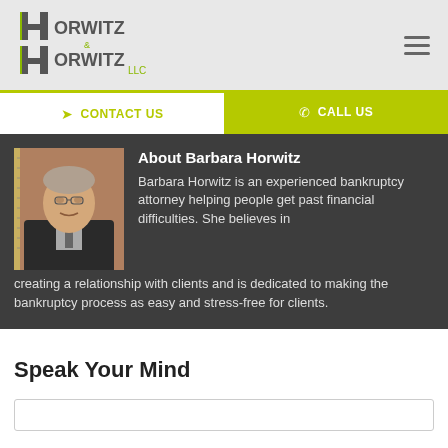Horwitz & Horwitz LLC
CONTACT US | CALL US
[Figure (photo): Headshot photo of Barbara Horwitz, a woman in dark jacket, seated]
About Barbara Horwitz
Barbara Horwitz is an experienced bankruptcy attorney helping people get past financial difficulties. She believes in creating a relationship with clients and is dedicated to making the bankruptcy process as easy and stress-free for clients.
Speak Your Mind